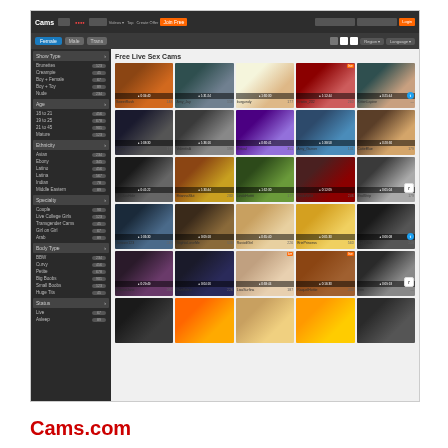[Figure (screenshot): Screenshot of Cams.com website showing a live sex cam streaming platform. The page has a dark navigation bar at top with the Cams logo, search bar, and login button. Below is a sub-navigation with Female/Male/Trans filter buttons and grid layout options. The left sidebar contains filter categories including Show Type (Brunettes, Creampie, Boy+Female, Boy+Toy, Nude), Age (18 to 21, 19 to 25, 21 to 45, Mature), Ethnicity (Asian, Ebony, Latino, Latina, Indian, Middle Eastern), Specialty (Couple, Live College Girls, Transgender Cams, Girl on Girl, Arab), Body Type (BBW, Curvy, Petite, Big Boobs, Small Boobs, Huge Tits, Status). The main content area shows a grid of 30 thumbnail images labeled 'Free Live Sex Cams' with model names and viewer counts below each thumbnail.]
Cams.com